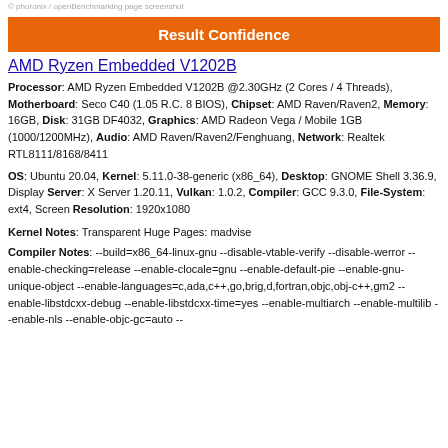© phoronix / openBenchmarking page screenshot
Result Confidence
AMD Ryzen Embedded V1202B
Processor: AMD Ryzen Embedded V1202B @2.30GHz (2 Cores / 4 Threads), Motherboard: Seco C40 (1.05 R.C. 8 BIOS), Chipset: AMD Raven/Raven2, Memory: 16GB, Disk: 31GB DF4032, Graphics: AMD Radeon Vega / Mobile 1GB (1000/1200MHz), Audio: AMD Raven/Raven2/Fenghuang, Network: Realtek RTL8111/8168/8411
OS: Ubuntu 20.04, Kernel: 5.11.0-38-generic (x86_64), Desktop: GNOME Shell 3.36.9, Display Server: X Server 1.20.11, Vulkan: 1.0.2, Compiler: GCC 9.3.0, File-System: ext4, Screen Resolution: 1920x1080
Kernel Notes: Transparent Huge Pages: madvise
Compiler Notes: --build=x86_64-linux-gnu --disable-vtable-verify --disable-werror --enable-checking=release --enable-clocale=gnu --enable-default-pie --enable-gnu-unique-object --enable-languages=c,ada,c++,go,brig,d,fortran,objc,obj-c++,gm2 --enable-libstdcxx-debug --enable-libstdcxx-time=yes --enable-multiarch --enable-multilib --enable-nls --enable-objc-gc=auto --